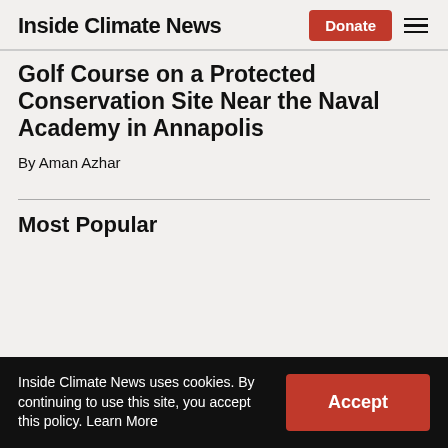Inside Climate News
Golf Course on a Protected Conservation Site Near the Naval Academy in Annapolis
By Aman Azhar
Most Popular
Inside Climate News uses cookies. By continuing to use this site, you accept this policy. Learn More